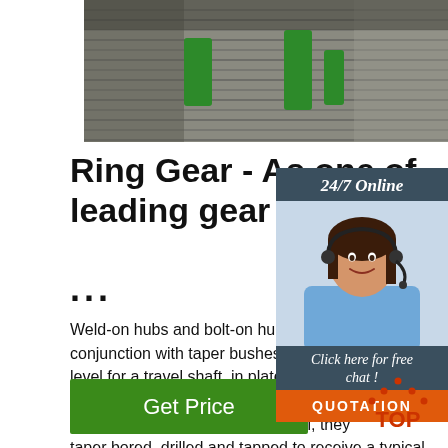[Figure (photo): Rolls of steel wire bundled with green straps, photographed from above]
Ring Gear - As one of leading gear manufactu...
...
Weld-on hubs and bolt-on hubs are being used in conjunction with taper bushes, to create level for a travel shaft, in plate tires, gear additional rotational components. Weld-on are created from high quality steel, they taper bored, drilled and tapped to receive a typical taper bush.
[Figure (photo): Customer service representative with headset, 24/7 Online chat widget with QUOTATION button]
Get Price